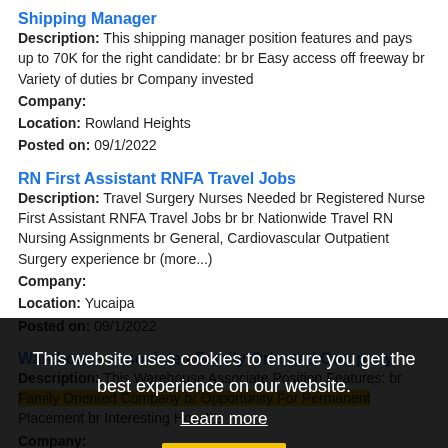Shipping Manager
Description: This shipping manager position features and pays up to 70K for the right candidate: br br Easy access off freeway br Variety of duties br Company invested
Company:
Location: Rowland Heights
Posted on: 09/1/2022
RN First Assistant RNFA Travel Jobs
Description: Travel Surgery Nurses Needed br Registered Nurse First Assistant RNFA Travel Jobs br br Nationwide Travel RN Nursing Assignments br General, Cardiovascular Outpatient Surgery experience br (more...)
Company:
Location: Yucaipa
Posted on: 09/1/2022
Warehouse associate - Family Oriented Company
Description: This Warehouse Associate Position Features: br Family Oriented Company br Opportunity For Permanent Placement br Interesting How It's
Company:
Location: Yucaipa
[Figure (screenshot): Cookie consent overlay with dark background. Text: 'This website uses cookies to ensure you get the best experience on our website.' with 'Learn more' link and 'Got it!' yellow button.]